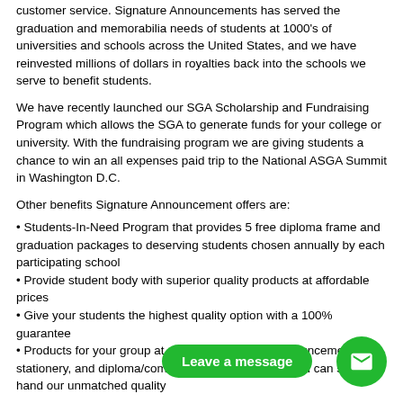customer service. Signature Announcements has served the graduation and memorabilia needs of students at 1000's of universities and schools across the United States, and we have reinvested millions of dollars in royalties back into the schools we serve to benefit students.
We have recently launched our SGA Scholarship and Fundraising Program which allows the SGA to generate funds for your college or university. With the fundraising program we are giving students a chance to win an all expenses paid trip to the National ASGA Summit in Washington D.C.
Other benefits Signature Announcement offers are:
Students-In-Need Program that provides 5 free diploma frame and graduation packages to deserving students chosen annually by each participating school
Provide student body with superior quality products at affordable prices
Give your students the highest quality option with a 100% guarantee
Products for your group at no charge, such as announcements, stationery, and diploma/commemorative frames so you can see first-hand our unmatched quality
Address: 10855 US Higha... Clearwater, Florida 33764
Phone: 727-489-2055 or 888-830-8305 x 103